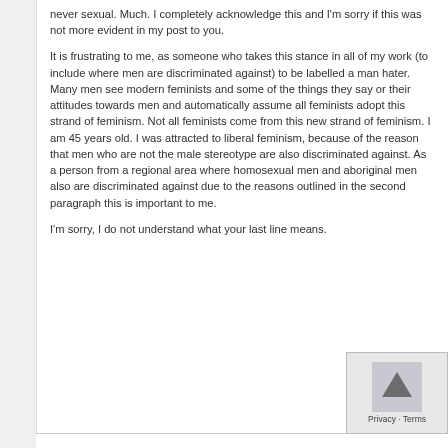never sexual. Much. I completely acknowledge this and I'm sorry if this was not more evident in my post to you.
It is frustrating to me, as someone who takes this stance in all of my work (to include where men are discriminated against) to be labelled a man hater. Many men see modern feminists and some of the things they say or their attitudes towards men and automatically assume all feminists adopt this strand of feminism. Not all feminists come from this new strand of feminism. I am 45 years old. I was attracted to liberal feminism, because of the reason that men who are not the male stereotype are also discriminated against. As a person from a regional area where homosexual men and aboriginal men also are discriminated against due to the reasons outlined in the second paragraph this is important to me.
I'm sorry, I do not understand what your last line means.